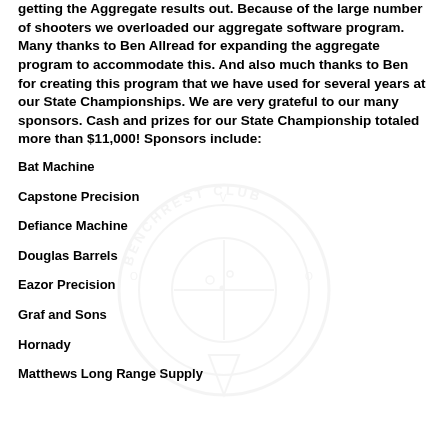getting the Aggregate results out. Because of the large number of shooters we overloaded our aggregate software program. Many thanks to Ben Allread for expanding the aggregate program to accommodate this. And also much thanks to Ben for creating this program that we have used for several years at our State Championships. We are very grateful to our many sponsors. Cash and prizes for our State Championship totaled more than $11,000! Sponsors include:
[Figure (logo): Benchrest Club watermark logo — circular emblem with crosshair target design and text 'BENCHREST CLUB' around the perimeter, with a pin/pointer at the bottom]
Bat Machine
Capstone Precision
Defiance Machine
Douglas Barrels
Eazor Precision
Graf and Sons
Hornady
Matthews Long Range Supply